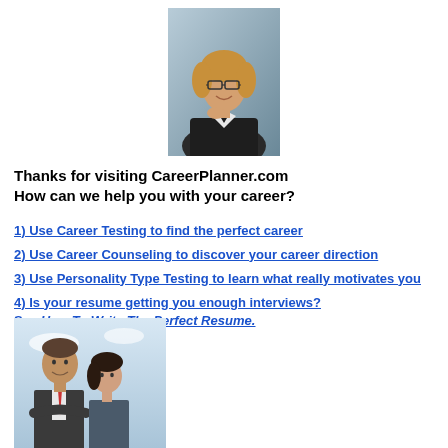[Figure (photo): Professional woman with glasses and dark blazer, smiling, posed with hand near chin against a blue-grey background]
Thanks for visiting CareerPlanner.com
How can we help you with your career?
1) Use Career Testing to find the perfect career
2) Use Career Counseling to discover your career direction
3) Use Personality Type Testing to learn what really motivates you
4) Is your resume getting you enough interviews?
See How To Write The Perfect Resume.
[Figure (photo): Two business professionals, a man and a woman, looking upward against a sky background]